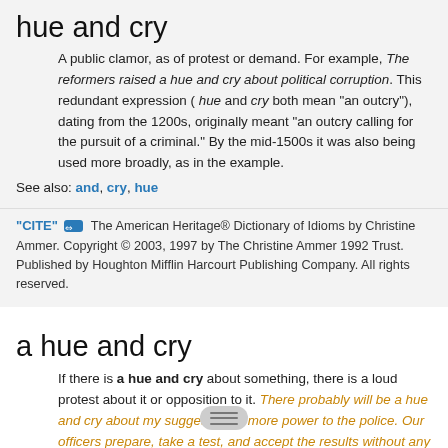hue and cry
A public clamor, as of protest or demand. For example, The reformers raised a hue and cry about political corruption. This redundant expression ( hue and cry both mean "an outcry"), dating from the 1200s, originally meant "an outcry calling for the pursuit of a criminal." By the mid-1500s it was also being used more broadly, as in the example.
See also: and, cry, hue
"CITE" [link icon] The American Heritage® Dictionary of Idioms by Christine Ammer. Copyright © 2003, 1997 by The Christine Ammer 1992 Trust. Published by Houghton Mifflin Harcourt Publishing Company. All rights reserved.
a hue and cry
If there is a hue and cry about something, there is a loud protest about it or opposition to it. There probably will be a hue and cry about my suggestion of more power to the police. Our officers prepare, take a test, and accept the results without any hue and cry. Note: Until the 19th